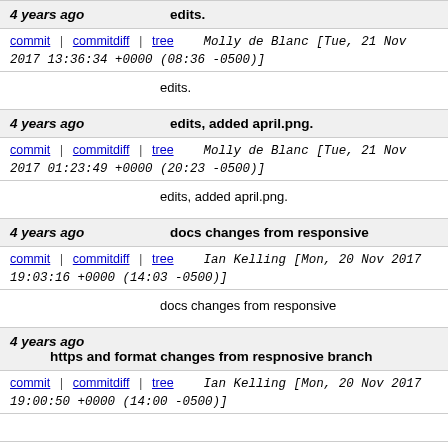| 4 years ago | edits. | commit | commitdiff | tree | Molly de Blanc [Tue, 21 Nov 2017 13:36:34 +0000 (08:36 -0500)] | edits. |
| 4 years ago | edits, added april.png. | commit | commitdiff | tree | Molly de Blanc [Tue, 21 Nov 2017 01:23:49 +0000 (20:23 -0500)] | edits, added april.png. |
| 4 years ago | docs changes from responsive | commit | commitdiff | tree | Ian Kelling [Mon, 20 Nov 2017 19:03:16 +0000 (14:03 -0500)] | docs changes from responsive |
| 4 years ago | https and format changes from respnosive branch | commit | commitdiff | tree | Ian Kelling [Mon, 20 Nov 2017 19:00:50 +0000 (14:00 -0500)] |  |